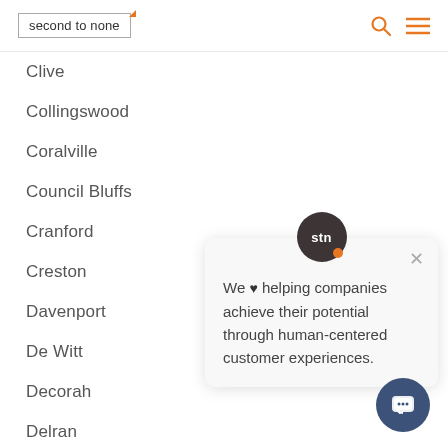second to none
Clive
Collingswood
Coralville
Council Bluffs
Cranford
Creston
Davenport
De Witt
Decorah
Delran
Denison
[Figure (screenshot): Chat popup with STN avatar and message: We ♥ helping companies achieve their potential through human-centered customer experiences.]